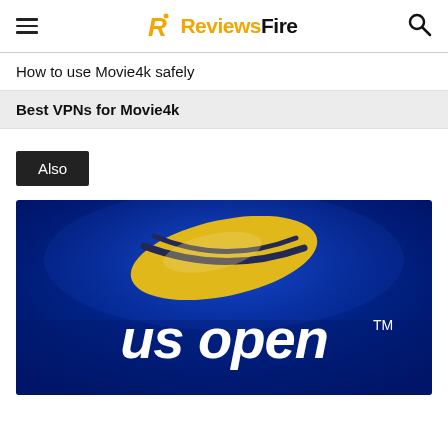ReviewsFire
How to use Movie4k safely
Best VPNs for Movie4k
Also
[Figure (logo): US Open tennis logo on a blue background with a yellow swoosh/ball graphic above the text 'us open TM']